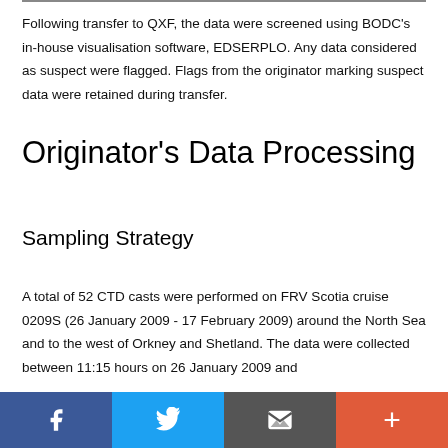Following transfer to QXF, the data were screened using BODC's in-house visualisation software, EDSERPLO. Any data considered as suspect were flagged. Flags from the originator marking suspect data were retained during transfer.
Originator's Data Processing
Sampling Strategy
A total of 52 CTD casts were performed on FRV Scotia cruise 0209S (26 January 2009 - 17 February 2009) around the North Sea and to the west of Orkney and Shetland. The data were collected between 11:15 hours on 26 January 2009 and